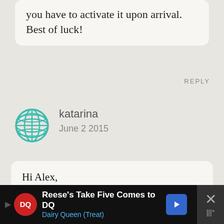you have to activate it upon arrival. Best of luck!
REPLY
[Figure (illustration): Globe/world icon in teal/green color]
katarina
June 2 2015
Hi Alex,

I have got tickets and have got a few questions.

I have friends staying in another campsite and wonder what was the best way to keep in contact?

-is their signal for mobiles?
Reese's Take Five Comes to DQ Dairy Queen (Treat)